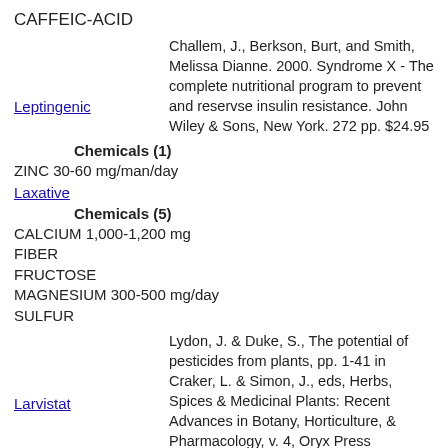CAFFEIC-ACID
Leptingenic
Challem, J., Berkson, Burt, and Smith, Melissa Dianne. 2000. Syndrome X - The complete nutritional program to prevent and reservse insulin resistance. John Wiley & Sons, New York. 272 pp. $24.95
Chemicals (1)
ZINC 30-60 mg/man/day
Laxative
Chemicals (5)
CALCIUM 1,000-1,200 mg
FIBER
FRUCTOSE
MAGNESIUM 300-500 mg/day
SULFUR
Larvistat
Lydon, J. & Duke, S., The potential of pesticides from plants, pp. 1-41 in Craker, L. & Simon, J., eds, Herbs, Spices & Medicinal Plants: Recent Advances in Botany, Horticulture, & Pharmacology, v. 4, Oryx Press